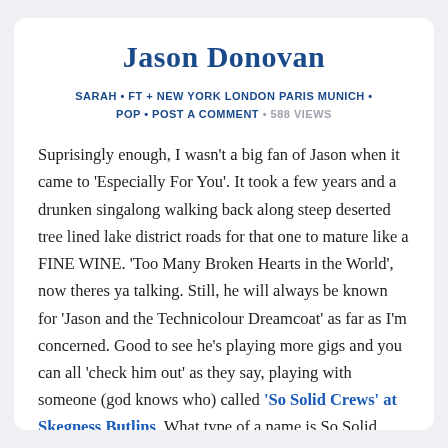Jason Donovan
SARAH • FT + NEW YORK LONDON PARIS MUNICH • POP • POST A COMMENT • 588 VIEWS
Suprisingly enough, I wasn't a big fan of Jason when it came to 'Especially For You'. It took a few years and a drunken singalong walking back along steep deserted tree lined lake district roads for that one to mature like a FINE WINE. 'Too Many Broken Hearts in the World', now theres ya talking. Still, he will always be known for 'Jason and the Technicolour Dreamcoat' as far as I'm concerned. Good to see he's playing more gigs and you can all 'check him out' as they say, playing with someone (god knows who) called 'So Solid Crews' at Skegness Butlins. What type of a name is So Solid Crew anyway? So Solid POO more like. JASON ROOLZ and u all